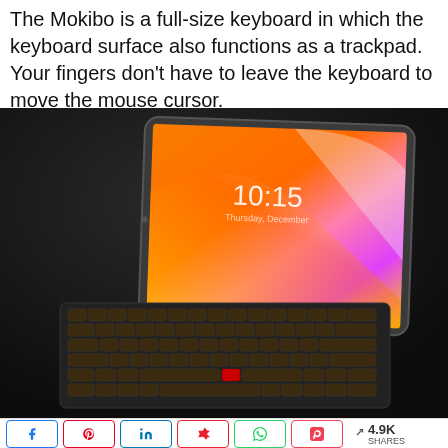The Mokibo is a full-size keyboard in which the keyboard surface also functions as a trackpad. Your fingers don't have to leave the keyboard to move the mouse cursor.
[Figure (photo): Photograph of the Mokibo keyboard-trackpad device connected to a tablet showing a lock screen with time 10:15, against a dark background. The keyboard has backlit keys and a red trackpad button in the center.]
< 4.9K SHARES (social share buttons: Facebook, Pinterest, LinkedIn, Flipboard, WhatsApp, Pocket)